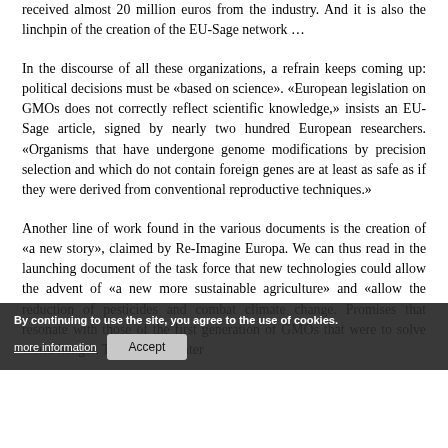received almost 20 million euros from the industry. And it is also the linchpin of the creation of the EU-Sage network …
In the discourse of all these organizations, a refrain keeps coming up: political decisions must be «based on science». «European legislation on GMOs does not correctly reflect scientific knowledge,» insists an EU-Sage article, signed by nearly two hundred European researchers. «Organisms that have undergone genome modifications by precision selection and which do not contain foreign genes are at least as safe as if they were derived from conventional reproductive techniques.»
Another line of work found in the various documents is the creation of «a new story», claimed by Re-Imagine Europa. We can thus read in the launching document of the task force that new technologies could allow the advent of «a new more susta... allow the reduction ... and ... climate change. Promises that resonate with those of the first generation of GMOs that were to solve world hunger. Twenty years later
By continuing to use the site, you agree to the use of cookies.
more information
Accept